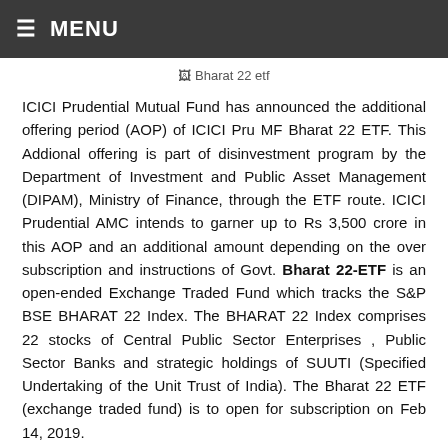≡ MENU
[Figure (photo): Bharat 22 etf image placeholder]
ICICI Prudential Mutual Fund has announced the additional offering period (AOP) of ICICI Pru MF Bharat 22 ETF. This Addional offering is part of disinvestment program by the Department of Investment and Public Asset Management (DIPAM), Ministry of Finance, through the ETF route. ICICI Prudential AMC intends to garner up to Rs 3,500 crore in this AOP and an additional amount depending on the over subscription and instructions of Govt. Bharat 22-ETF is an open-ended Exchange Traded Fund which tracks the S&P BSE BHARAT 22 Index. The BHARAT 22 Index comprises 22 stocks of Central Public Sector Enterprises , Public Sector Banks and strategic holdings of SUUTI (Specified Undertaking of the Unit Trust of India). The Bharat 22 ETF (exchange traded fund) is to open for subscription on Feb 14, 2019.